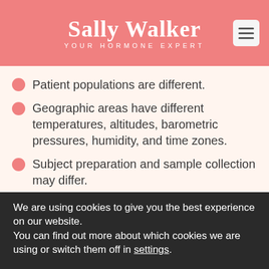Sally Walker — YOUR HORMONE EXPERT
Patient populations are different.
Geographic areas have different temperatures, altitudes, barometric pressures, humidity, and time zones.
Subject preparation and sample collection may differ.
We are using cookies to give you the best experience on our website.
You can find out more about which cookies we are using or switch them off in settings.
Accept